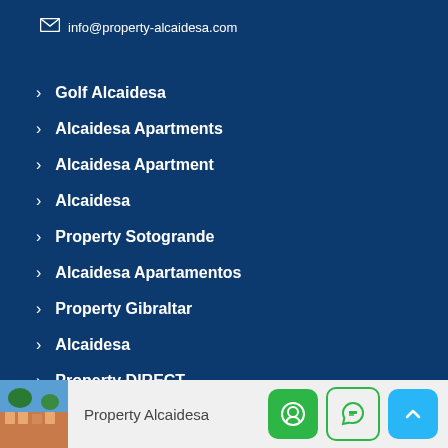info@property-alcaidesa.com
Golf Alcaidesa
Alcaidesa Apartments
Alcaidesa Apartment
Alcaidesa
Property Sotogrande
Alcaidesa Apartamentos
Property Gibraltar
Alcaidesa
Property DIRECT
Property Alcaidesa